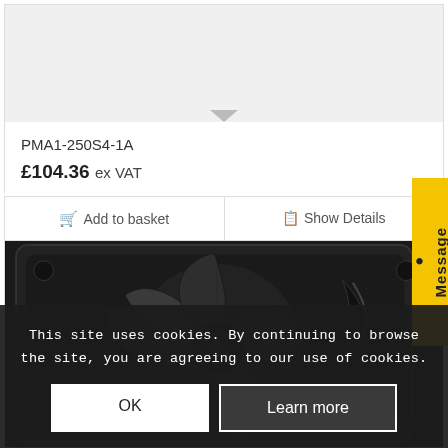PMA1-250S4-1A
£104.36 ex VAT
Add to basket
Show Details
[Figure (photo): Black axial cooling fan, square frame, viewed from front showing fan blades]
Message
This site uses cookies. By continuing to browse the site, you are agreeing to our use of cookies.
OK
Learn more